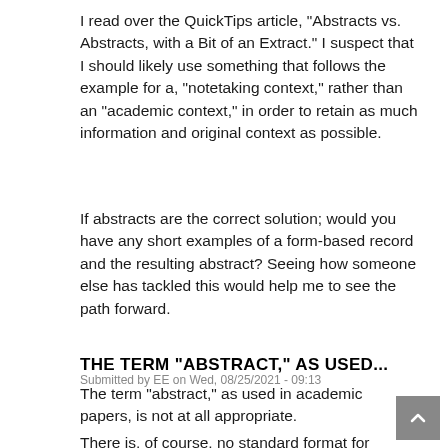I read over the QuickTips article, "Abstracts vs. Abstracts, with a Bit of an Extract." I suspect that I should likely use something that follows the example for a, "notetaking context," rather than an "academic context," in order to retain as much information and original context as possible.
If abstracts are the correct solution; would you have any short examples of a form-based record and the resulting abstract? Seeing how someone else has tackled this would help me to see the path forward.
THE TERM "ABSTRACT," AS USED...
Submitted by EE on Wed, 08/25/2021 - 09:13
The term "abstract," as used in academic papers, is not at all appropriate.
There is, of course, no standard format for extracting or...